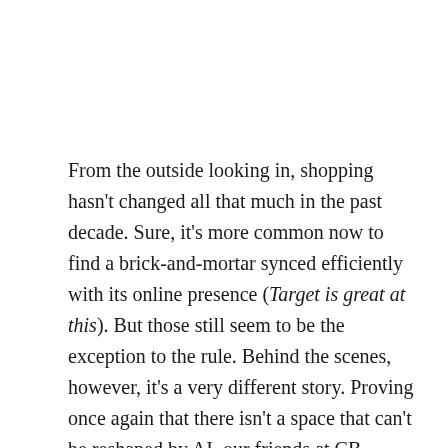From the outside looking in, shopping hasn't changed all that much in the past decade. Sure, it's more common now to find a brick-and-mortar synced efficiently with its online presence (Target is great at this). But those still seem to be the exception to the rule. Behind the scenes, however, it's a very different story. Proving once again that there isn't a space that can't be reshaped by AI, our friends at CB Insights mapped the startups disrupting retail and e-commerce using artificial intelligence (AI). Syncing online and real-world inventories are just the tip of the iceberg when it comes to converting retail to a 21st-century endeavor. The applications are broad enough, in fact, that